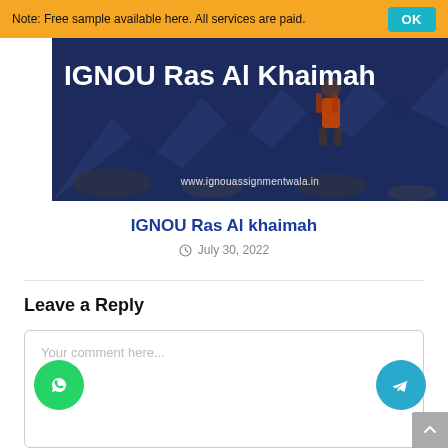Note: Free sample available here. All services are paid.
[Figure (photo): Hero banner image with dark blue/grey rocky background and person with orange backpack. Text reads 'IGNOU Ras Al Khaimah' in large white bold letters with website URL www.ignouassignmentwala.in]
IGNOU Ras Al khaimah
July 30, 2022
Leave a Reply
Your comment here...